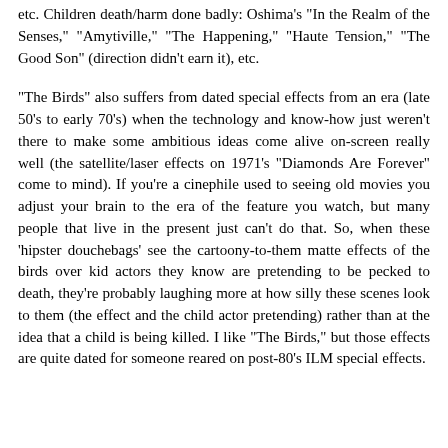etc. Children death/harm done badly: Oshima's "In the Realm of the Senses," "Amytiville," "The Happening," "Haute Tension," "The Good Son" (direction didn't earn it), etc.
"The Birds" also suffers from dated special effects from an era (late 50's to early 70's) when the technology and know-how just weren't there to make some ambitious ideas come alive on-screen really well (the satellite/laser effects on 1971's "Diamonds Are Forever" come to mind). If you're a cinephile used to seeing old movies you adjust your brain to the era of the feature you watch, but many people that live in the present just can't do that. So, when these 'hipster douchebags' see the cartoony-to-them matte effects of the birds over kid actors they know are pretending to be pecked to death, they're probably laughing more at how silly these scenes look to them (the effect and the child actor pretending) rather than at the idea that a child is being killed. I like "The Birds," but those effects are quite dated for someone reared on post-80's ILM special effects.